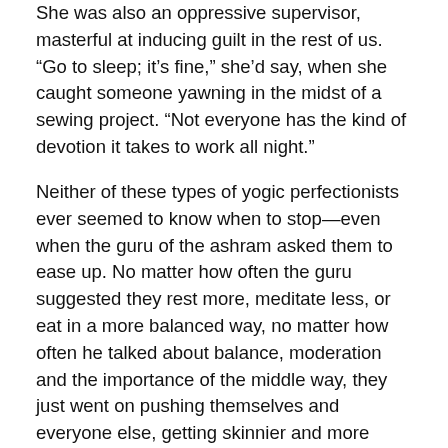She was also an oppressive supervisor, masterful at inducing guilt in the rest of us. “Go to sleep; it’s fine,” she’d say, when she caught someone yawning in the midst of a sewing project. “Not everyone has the kind of devotion it takes to work all night.”
Neither of these types of yogic perfectionists ever seemed to know when to stop—even when the guru of the ashram asked them to ease up. No matter how often the guru suggested they rest more, meditate less, or eat in a more balanced way, no matter how often he talked about balance, moderation and the importance of the middle way, they just went on pushing themselves and everyone else, getting skinnier and more spacy, or skinnier and more irritable, until the inevitable day of burnout arrived—the day they couldn’t get out of bed for one more round of meditation or one more task. Often that was the end of